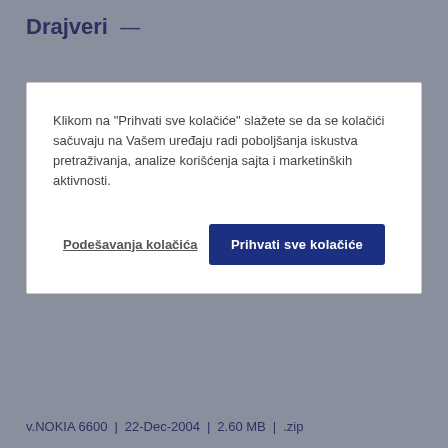Drajveri —
Klikom na "Prihvati sve kolačiće" slažete se da se kolačići sačuvaju na Vašem uređaju radi poboljšanja iskustva pretraživanja, analize korišćenja sajta i marketinških aktivnosti.
Podešavanja kolačića
Prihvati sve kolačiće
v.NOKIA 6600 | 22-Dec-2004 | 2.60 MB | .zip
EPSON Bluetooth Printing Application (vNOKIA 7610) +
v.NOKIA 7610 | 22-Dec-2004 | 2.60 MB | .zip
EPSON Bluetooth Printing Application (vNOKIA 3650) +